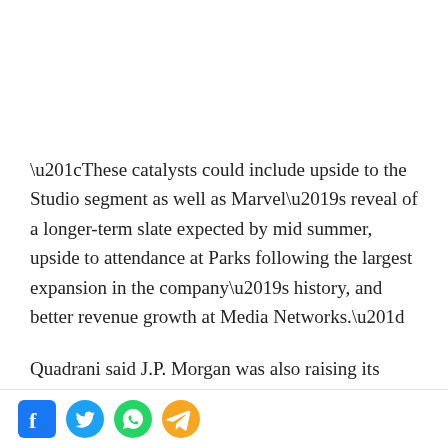“These catalysts could include upside to the Studio segment as well as Marvel’s reveal of a longer-term slate expected by mid summer, upside to attendance at Parks following the largest expansion in the company’s history, and better revenue growth at Media Networks.”
Quadrani said J.P. Morgan was also raising its